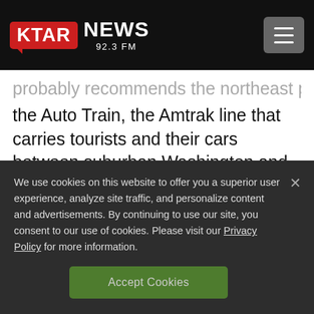KTAR NEWS 92.3 FM
the Auto Train, the Amtrak line that carries tourists and their cars between suburban Washington and central Florida's theme parks.
We use cookies on this website to offer you a superior user experience, analyze site traffic, and personalize content and advertisements. By continuing to use our site, you consent to our use of cookies. Please visit our Privacy Policy for more information.